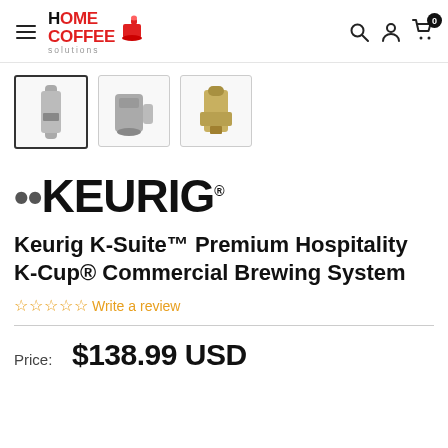Home Coffee Solutions — navigation bar with hamburger menu, logo, search, account, cart (0)
[Figure (photo): Three product thumbnail images of Keurig K-Suite brewer; first thumbnail is selected/active]
[Figure (logo): Keurig brand logo in large bold uppercase black text]
Keurig K-Suite™ Premium Hospitality K-Cup® Commercial Brewing System
☆☆☆☆☆ Write a review
Price: $138.99 USD